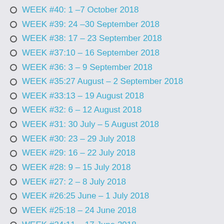WEEK #40: 1 –7 October 2018
WEEK #39: 24 –30 September 2018
WEEK #38: 17 – 23 September 2018
WEEK #37:10 – 16 September 2018
WEEK #36: 3 – 9 September 2018
WEEK #35:27 August – 2 September 2018
WEEK #33:13 – 19 August 2018
WEEK #32: 6 – 12 August 2018
WEEK #31: 30 July – 5 August 2018
WEEK #30: 23 – 29 July 2018
WEEK #29: 16 – 22 July 2018
WEEK #28: 9 – 15 July 2018
WEEK #27: 2 – 8 July 2018
WEEK #26:25 June – 1 July 2018
WEEK #25:18 – 24 June 2018
WEEK #24:11 – 17 June 2018
WEEK#23: 4 - 10 June 2018
WEEK#22: 28 May - 3 June 2018
WEEK#20:14 – 20 May 2018
WEEK #19: 7 – 13 May 2018
WEEK #18: 30 April – 6 May 2018
WEEK #17: 23 – 29 April 2018